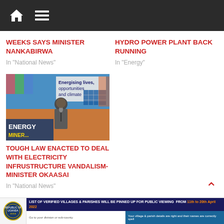Navigation bar with home and menu icons
WEEKS SAYS MINISTER NANKABIRWA
In "National News"
HYDRO POWER PLANT BACK RUNNING
In "Energy"
[Figure (photo): A man speaking at a podium with microphone in front of an Energy & Minerals event banner reading 'Energising lives, opportunities and climate']
TOUGH LAW ENACTED TO DEAL WITH ELECTRICITY INFRUSTRUCTURE VANDALISM-MINISTER OKAASAI
In "National News"
[Figure (infographic): Footer banner: LIST OF VERIFIED VILLAGES & PARISHES WILL BE PINNED UP FOR PUBLIC VIEWING FROM 11th to 20th April 2022. Go to your division or sub-county. Your village & parish details are right and their names are correctly spell.]